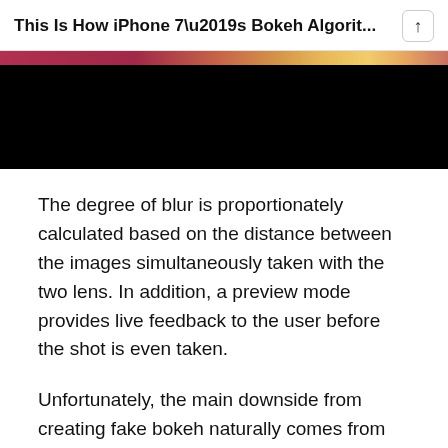This Is How iPhone 7’s Bokeh Algorit...
[Figure (photo): Partial image showing a blurred bokeh photo, with a pinkish/gold top strip and a large black area below, appearing to be a partially loaded or cropped photograph.]
The degree of blur is proportionately calculated based on the distance between the images simultaneously taken with the two lens. In addition, a preview mode provides live feedback to the user before the shot is even taken.
Unfortunately, the main downside from creating fake bokeh naturally comes from the halo effect seen around the in-focus subject and the blurry background. However, you won’t need to wait until